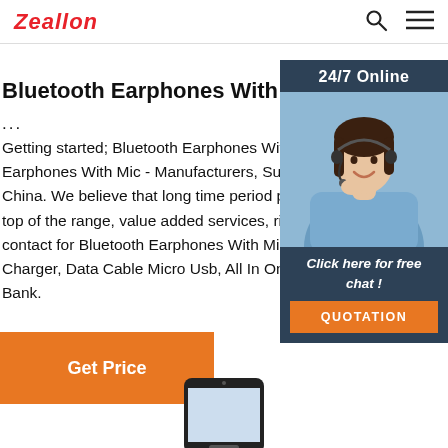Zeallon
Bluetooth Earphones With Mic - Manufactur...
...
Getting started; Bluetooth Earphones With Mic; B Earphones With Mic - Manufacturers, Suppliers, F China. We believe that long time period partnersh top of the range, value added services, rich exper contact for Bluetooth Earphones With Mic, Wirele Charger, Data Cable Micro Usb, All In One Usb Da Bank.
[Figure (photo): Customer service representative woman with headset, smiling, with '24/7 Online' header and 'Click here for free chat!' text and orange QUOTATION button]
Get Price